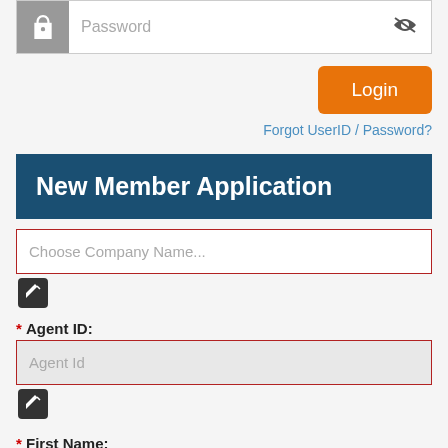[Figure (screenshot): Password input field with key icon on left and eye icon on right]
[Figure (screenshot): Login button (orange)]
Forgot UserID / Password?
New Member Application
[Figure (screenshot): Choose Company Name input field with red border]
[Figure (screenshot): Edit/pencil icon]
* Agent ID:
[Figure (screenshot): Agent Id input field with red border and gray background]
[Figure (screenshot): Edit/pencil icon]
* First Name:
[Figure (screenshot): First Name input field with red border]